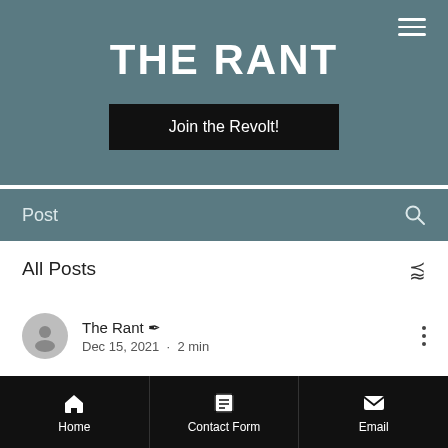THE RANT
Join the Revolt!
Post
All Posts
The Rant ✒ · Dec 15, 2021 · 2 min
Omicron: a worst case
Home | Contact Form | Email